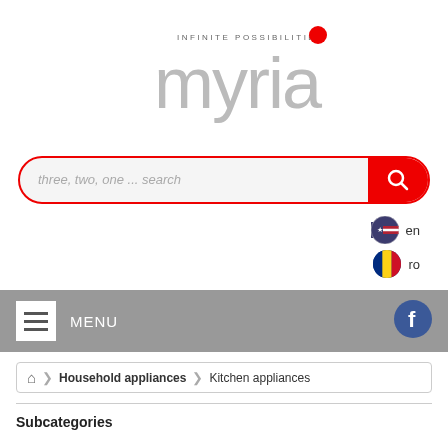[Figure (logo): Myria brand logo with tagline 'INFINITE POSSIBILITIES' and stylized myria lettering in grey with red dot]
three, two, one ... search
[Figure (infographic): Language selector showing US flag with 'en' and Romanian flag with 'ro']
MENU
Household appliances > Kitchen appliances
Subcategories